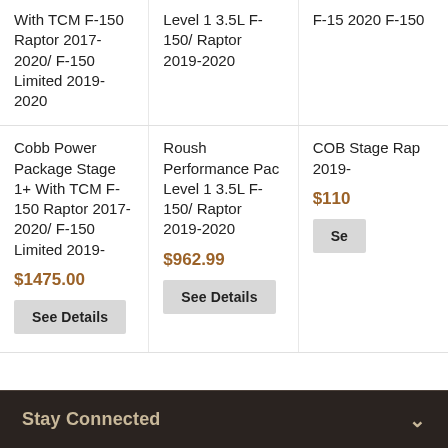With TCM F-150 Raptor 2017-2020/ F-150 Limited 2019-2020
Level 1 3.5L F-150/ Raptor 2019-2020
F-150 2020 F-150 Limited...
Cobb Power Package Stage 1+ With TCM F-150 Raptor 2017-2020/ F-150 Limited 2019-
Roush Performance Pac Level 1 3.5L F-150/ Raptor 2019-2020
COBB Stage... Raptor 2019-
$1475.00
$962.99
$110...
See Details
See Details
Se...
Stay Connected